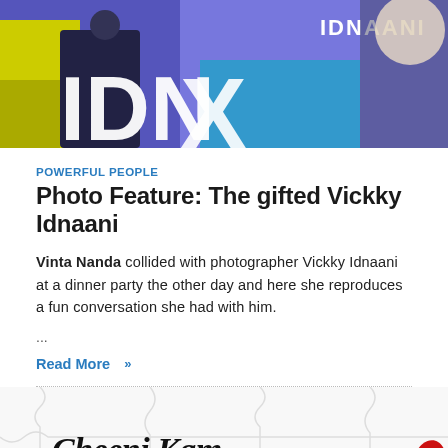[Figure (photo): Stylized pop-art illustration with purple, blue, yellow tones showing text 'IDNAANI' at top and large white letters below, with figure silhouettes]
POWERFUL PEOPLE
Photo Feature: The gifted Vickky Idnaani
Vinta Nanda collided with photographer Vickky Idnaani at a dinner party the other day and here she reproduces a fun conversation she had with him.
...
Read More »
[Figure (photo): Cheeni Kam logo with italic script text 'Cheeni Kam' and subtitle 'WHAT IS CHEENI WHAT IS NOT!' with red candy/sweet shapes on white background with puzzle piece texture]